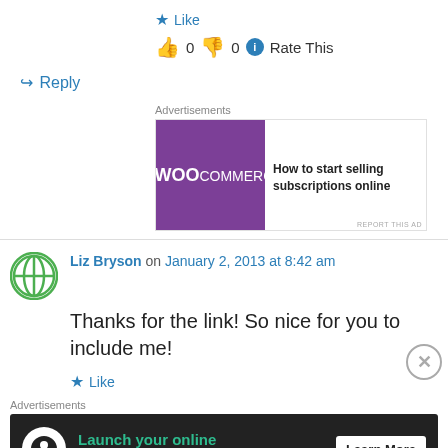★ Like
👍 0 👎 0 ℹ Rate This
↪ Reply
Advertisements
[Figure (screenshot): WooCommerce advertisement banner: purple background with WooCommerce logo and text 'How to start selling subscriptions online']
Liz Bryson on January 2, 2013 at 8:42 am
Thanks for the link! So nice for you to include me!
★ Like
Advertisements
[Figure (screenshot): Dark advertisement banner: 'Launch your online course with WordPress' with Learn More button]